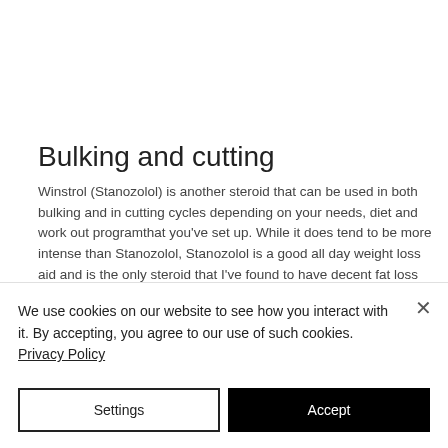Bulking and cutting
Winstrol (Stanozolol) is another steroid that can be used in both bulking and in cutting cycles depending on your needs, diet and work out programthat you've set up. While it does tend to be more intense than Stanozolol, Stanozolol is a good all day weight loss aid and is the only steroid that I've found to have decent fat loss
We use cookies on our website to see how you interact with it. By accepting, you agree to our use of such cookies. Privacy Policy
Settings
Accept